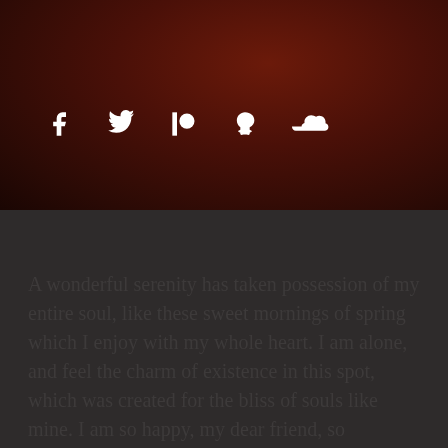[Figure (illustration): Dark reddish-brown textured background (wood-like) with five white social media icons: Facebook, Twitter, Patreon, Snapchat, SoundCloud]
A wonderful serenity has taken possession of my entire soul, like these sweet mornings of spring which I enjoy with my whole heart. I am alone, and feel the charm of existence in this spot, which was created for the bliss of souls like mine. I am so happy, my dear friend, so absorbed in the exquisite sense of mere tranquil